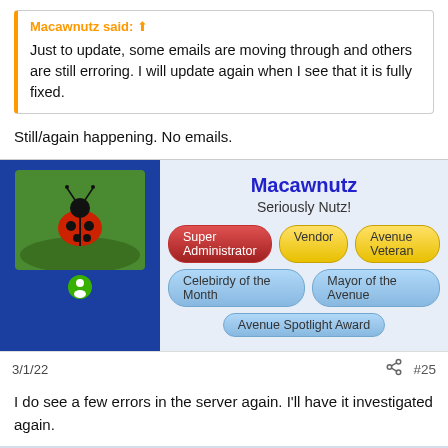Macawnutz said: ↑
Just to update, some emails are moving through and others are still erroring. I will update again when I see that it is fully fixed.
Still/again happening. No emails.
Macawnuttz
Seriously Nutz!
Super Administrator | Vendor | Avenue Veteran
Celebirdy of the Month | Mayor of the Avenue
Avenue Spotlight Award
3/1/22   #25
I do see a few errors in the server again. I'll have it investigated again.